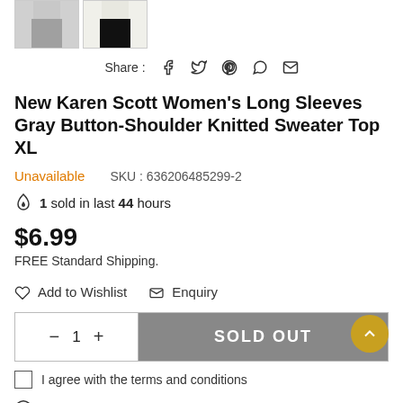[Figure (photo): Two thumbnail product images of women wearing knitted sweater tops]
Share : [facebook] [twitter] [pinterest] [whatsapp] [email]
New Karen Scott Women's Long Sleeves Gray Button-Shoulder Knitted Sweater Top XL
Unavailable    SKU : 636206485299-2
1 sold in last 44 hours
$6.99
FREE Standard Shipping.
♡ Add to Wishlist   ✉ Enquiry
— 1 +   SOLD OUT
I agree with the terms and conditions
3 People looking for this product right now